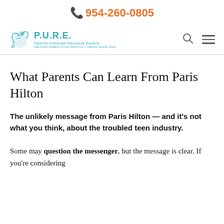954-260-0805
[Figure (logo): P.U.R.E. Parents Universal Resource Experts logo with teal bird/leaf icon and text 'HELPING PARENTS OF DIFFICULT TEENS SINCE 2001']
What Parents Can Learn From Paris Hilton
The unlikely message from Paris Hilton — and it's not what you think, about the troubled teen industry.
Some may question the messenger, but the message is clear. If you're considering